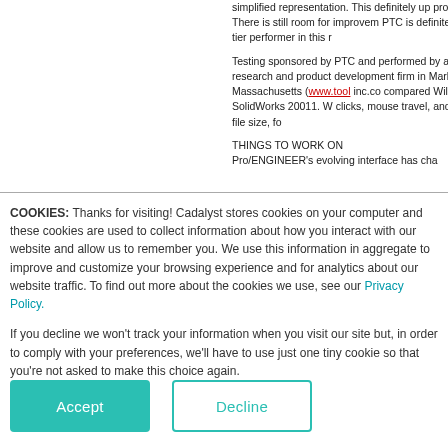simplified representation. This definitely up productivity. There is still room for improvement PTC is definitely a top-tier performer in this r
Testing sponsored by PTC and performed by a research and product development firm in Marblehead, Massachusetts (www.tool inc.co compared Wildfire with SolidWorks 20011. W clicks, mouse travel, and finished file size, fo
THINGS TO WORK ON
Pro/ENGINEER's evolving interface has cha
COOKIES: Thanks for visiting! Cadalyst stores cookies on your computer and these cookies are used to collect information about how you interact with our website and allow us to remember you. We use this information in aggregate to improve and customize your browsing experience and for analytics about our website traffic. To find out more about the cookies we use, see our Privacy Policy.
If you decline we won't track your information when you visit our site but, in order to comply with your preferences, we'll have to use just one tiny cookie so that you're not asked to make this choice again.